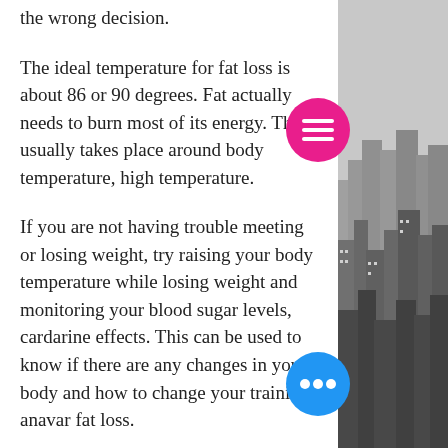the wrong decision.
The ideal temperature for fat loss is about 86 or 90 degrees. Fat actually needs to burn most of its energy. That usually takes place around body temperature, high temperature.
If you are not having trouble meeting or losing weight, try raising your body temperature while losing weight and monitoring your blood sugar levels, cardarine effects. This can be used to know if there are any changes in your body and how to change your training, anavar fat loss.
How to Increase or Decrease Your Body Temperature
There are different ways you can increase or decrease your body temperature and there are not all that many practical methods that will work for everybody, what is sarms.